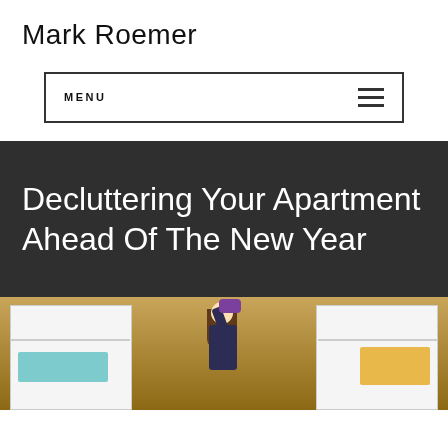Mark Roemer
MENU
Decluttering Your Apartment Ahead Of The New Year
[Figure (photo): A person organizing or decluttering a closet with open shelving units, viewed from behind, lifting an object above their head. Wooden background visible.]